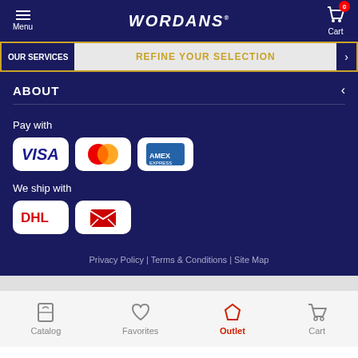WORDANS - Menu, Cart (0)
REFINE YOUR SELECTION
ABOUT
Pay with
[Figure (logo): Payment icons: Visa, Mastercard, American Express]
We ship with
[Figure (logo): Shipping icons: DHL, Canada Post]
Privacy Policy | Terms & Conditions | Site Map
Catalog | Favorites | Outlet | Cart